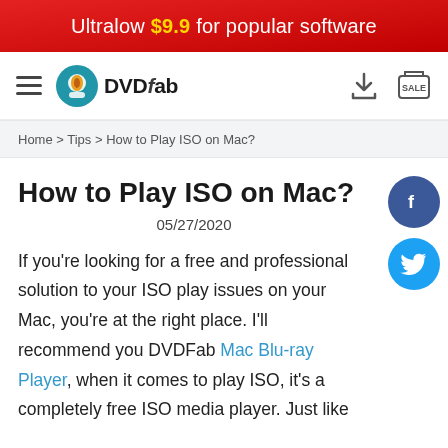Ultralow $9.9 for popular software
[Figure (logo): DVDFab navigation bar with hamburger menu, DVDFab logo, download icon, and sale icon]
Home > Tips > How to Play ISO on Mac?
How to Play ISO on Mac?
05/27/2020
If you're looking for a free and professional solution to your ISO play issues on your Mac, you're at the right place. I'll recommend you DVDFab Mac Blu-ray Player, when it comes to play ISO, it's a completely free ISO media player. Just like